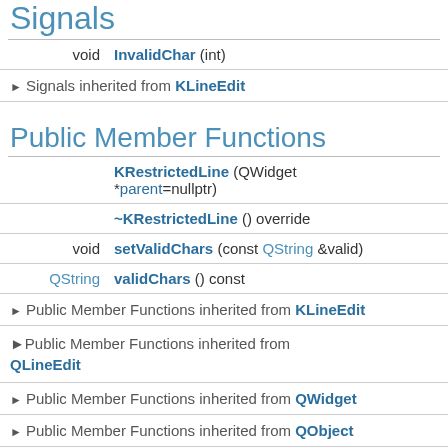Signals
| Return | Function |
| --- | --- |
| void | InvalidChar (int) |
Signals inherited from KLineEdit
Public Member Functions
| Return | Function |
| --- | --- |
|  | KRestrictedLine (QWidget *parent=nullptr) |
|  | ~KRestrictedLine () override |
| void | setValidChars (const QString &valid) |
| QString | validChars () const |
Public Member Functions inherited from KLineEdit
Public Member Functions inherited from QLineEdit
Public Member Functions inherited from QWidget
Public Member Functions inherited from QObject
Public Member Functions inherited from